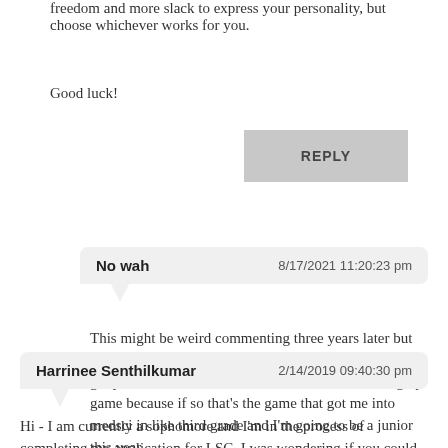freedom and more slack to express your personality, but choose whichever works for you.
Good luck!
REPLY
No wah    8/17/2021 11:20:23 pm
This might be weird commenting three years later but by any chance was the "cheesy computer game" that got you into medical science an edheads virtual surgery game because if so that's the game that got me into medsci in like third grade and I'm going to be a junior this year-
Harrinee Senthilkumar    2/14/2019 09:40:30 pm
Hi - I am currently a sophomore and I'm in the process of completing my application for LSC. I was wondering if you could tell me what my chances are of actually getting in. Also, if you have any